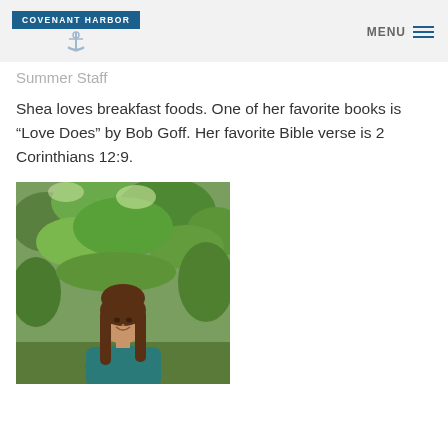COVENANT HARBOR  MENU
Summer Staff
Shea loves breakfast foods. One of her favorite books is “Love Does” by Bob Goff. Her favorite Bible verse is 2 Corinthians 12:9.
[Figure (photo): Young woman with long brown hair smiling outdoors in front of green trees, wearing a teal t-shirt]